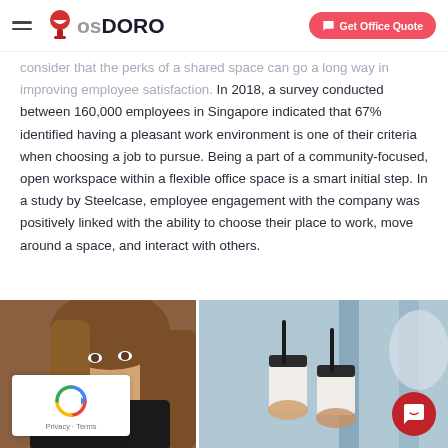CosDORO — Get Office Quote
consider that the perks of a shared space can go a long way in improving employee satisfaction. In 2018, a survey conducted between 160,000 employees in Singapore indicated that 67% identified having a pleasant work environment is one of their criteria when choosing a job to pursue. Being a part of a community-focused, open workspace within a flexible office space is a smart initial step. In a study by Steelcase, employee engagement with the company was positively linked with the ability to choose their place to work, move around a space, and interact with others.
[Figure (photo): Two images side by side: left shows a smiling young woman with long hair in a dark jacket; right shows two people holding coffee cups with straws, in a bright workspace setting.]